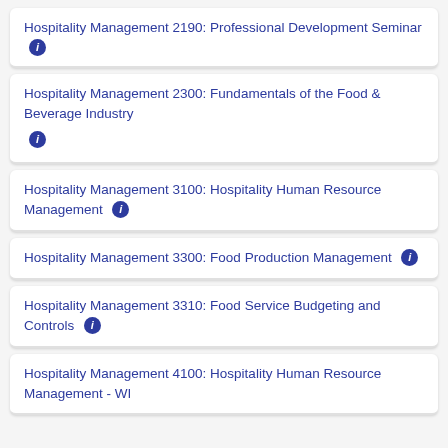Hospitality Management 2190: Professional Development Seminar
Hospitality Management 2300: Fundamentals of the Food & Beverage Industry
Hospitality Management 3100: Hospitality Human Resource Management
Hospitality Management 3300: Food Production Management
Hospitality Management 3310: Food Service Budgeting and Controls
Hospitality Management 4100: Hospitality Human Resource Management - WI